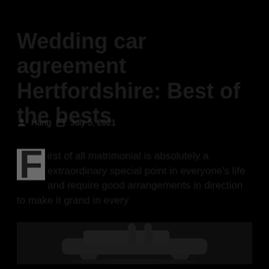Wedding car agreement Hertfordshire: Best of the bests
Hang  July 5, 2021
First of all matrimonial is absolutely a extraordinary special point in everyone's life and require good arrangements in direction to make it grand in every
[Figure (photo): A dark/silhouette photo of a wedding car scene, very low contrast against black background]